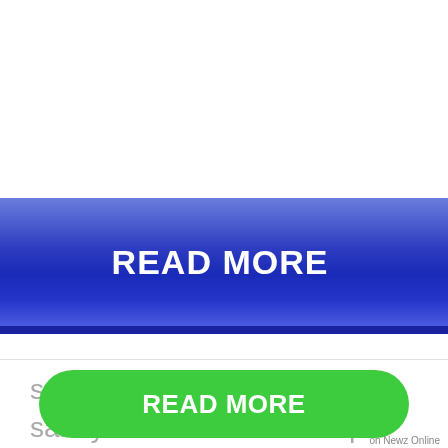[Figure (other): Blue gradient READ MORE button with shadow]
on Newz Online
85th Street Beach is on the quieter side when it comes to Miami Beaches, however, plenty of lifeguards still walk this coastline to ensure water safety.
The beach aters and soft, sandy tranquil
[Figure (other): Green READ MORE button overlay at bottom]